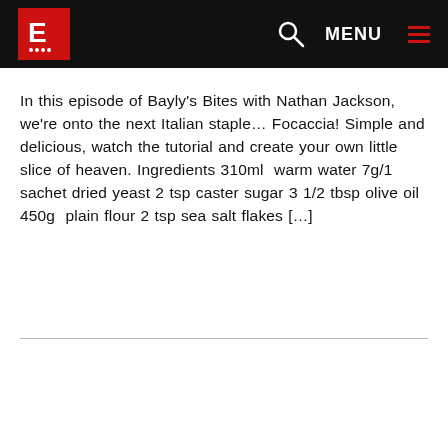E MENU
In this episode of Bayly's Bites with Nathan Jackson, we're onto the next Italian staple… Focaccia! Simple and delicious, watch the tutorial and create your own little slice of heaven. Ingredients 310ml  warm water 7g/1 sachet dried yeast 2 tsp caster sugar 3 1/2 tbsp olive oil 450g  plain flour 2 tsp sea salt flakes […]